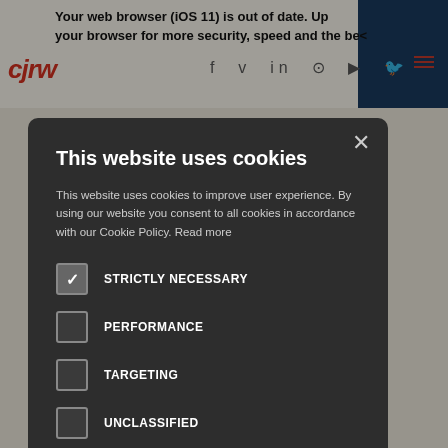Your web browser (iOS 11) is out of date. Update your browser for more security, speed and the best
[Figure (screenshot): Website background showing CJRW logo with social media icons and navigation, with partial article text visible]
This website uses cookies
This website uses cookies to improve user experience. By using our website you consent to all cookies in accordance with our Cookie Policy. Read more
STRICTLY NECESSARY (checked)
PERFORMANCE (unchecked)
TARGETING (unchecked)
UNCLASSIFIED (unchecked)
ACCEPT ALL
DECLINE ALL
SHOW DETAILS